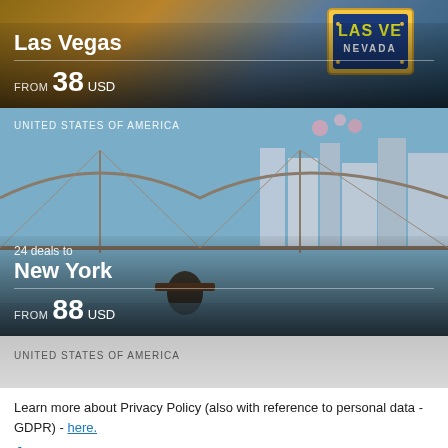[Figure (photo): Las Vegas destination card with city sign photo background, showing FROM 38 USD price]
[Figure (photo): New York destination card with bridge and skyline photo background, 24 deals, FROM 88 USD price]
[Figure (photo): Partial third destination card with gray background, United States of America label]
Learn more about Privacy Policy (also with reference to personal data - GDPR) - here.
Accept